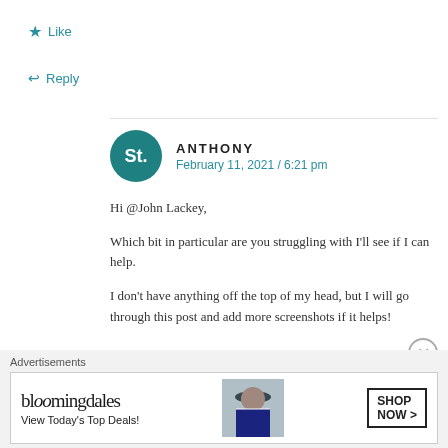★ Like
↩ Reply
ANTHONY
February 11, 2021 / 6:21 pm
Hi @John Lackey,
Which bit in particular are you struggling with I'll see if I can help.
I don't have anything off the top of my head, but I will go through this post and add more screenshots if it helps!
Advertisements
[Figure (screenshot): Bloomingdale's advertisement banner: logo, 'View Today's Top Deals!' tagline, model in hat, SHOP NOW button]